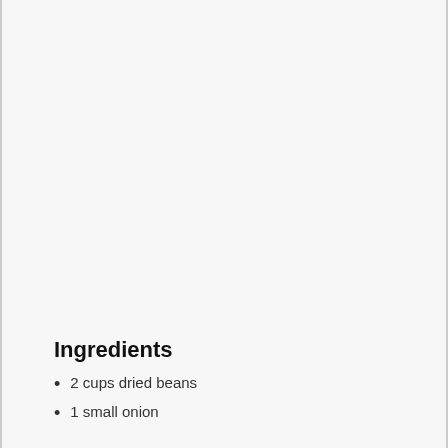Ingredients
2 cups dried beans
1 small onion